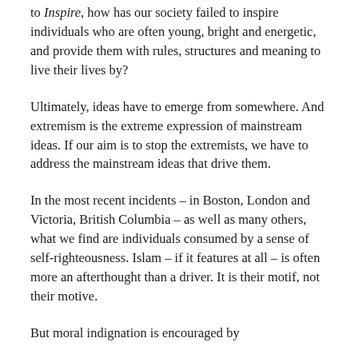to Inspire, how has our society failed to inspire individuals who are often young, bright and energetic, and provide them with rules, structures and meaning to live their lives by?
Ultimately, ideas have to emerge from somewhere. And extremism is the extreme expression of mainstream ideas. If our aim is to stop the extremists, we have to address the mainstream ideas that drive them.
In the most recent incidents – in Boston, London and Victoria, British Columbia – as well as many others, what we find are individuals consumed by a sense of self-righteousness. Islam – if it features at all – is often more an afterthought than a driver. It is their motif, not their motive.
But moral indignation is encouraged by